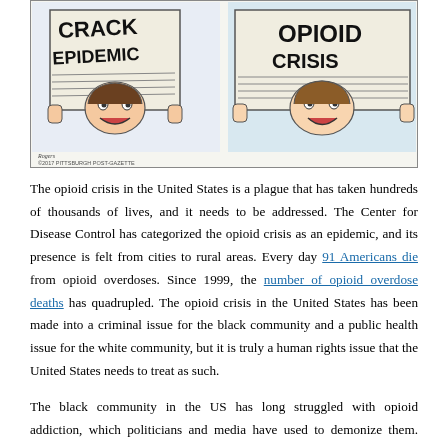[Figure (illustration): Editorial cartoon showing two figures holding newspapers — one reading 'CRACK EPIDEMIC' and one reading 'OPIOID CRISIS'. Caption: ©2017 Pittsburgh Post-Gazette.]
The opioid crisis in the United States is a plague that has taken hundreds of thousands of lives, and it needs to be addressed. The Center for Disease Control has categorized the opioid crisis as an epidemic, and its presence is felt from cities to rural areas. Every day 91 Americans die from opioid overdoses. Since 1999, the number of opioid overdose deaths has quadrupled. The opioid crisis in the United States has been made into a criminal issue for the black community and a public health issue for the white community, but it is truly a human rights issue that the United States needs to treat as such.
The black community in the US has long struggled with opioid addiction, which politicians and media have used to demonize them. Ronald Reagan's "War on Drugs", which began in the 1980s and had ramifications through the 1990s to present day, put hundreds of